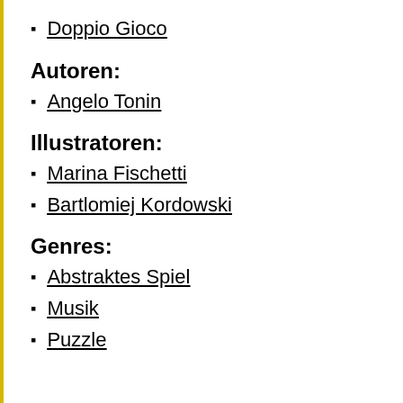Doppio Gioco
Autoren:
Angelo Tonin
Illustratoren:
Marina Fischetti
Bartlomiej Kordowski
Genres:
Abstraktes Spiel
Musik
Puzzle